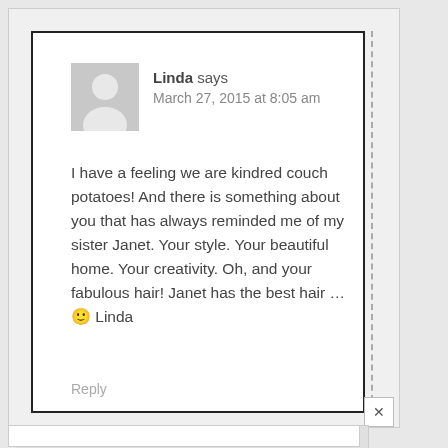[Figure (illustration): Gray default avatar icon showing a silhouette of a person]
Linda says
March 27, 2015 at 8:05 am
I have a feeling we are kindred couch potatoes! And there is something about you that has always reminded me of my sister Janet. Your style. Your beautiful home. Your creativity. Oh, and your fabulous hair! Janet has the best hair … 🙂 Linda
Reply